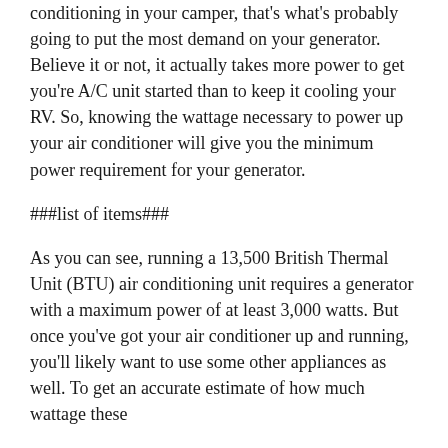conditioning in your camper, that's what's probably going to put the most demand on your generator. Believe it or not, it actually takes more power to get you're A/C unit started than to keep it cooling your RV. So, knowing the wattage necessary to power up your air conditioner will give you the minimum power requirement for your generator.
###list of items###
As you can see, running a 13,500 British Thermal Unit (BTU) air conditioning unit requires a generator with a maximum power of at least 3,000 watts. But once you've got your air conditioner up and running, you'll likely want to use some other appliances as well. To get an accurate estimate of how much wattage these